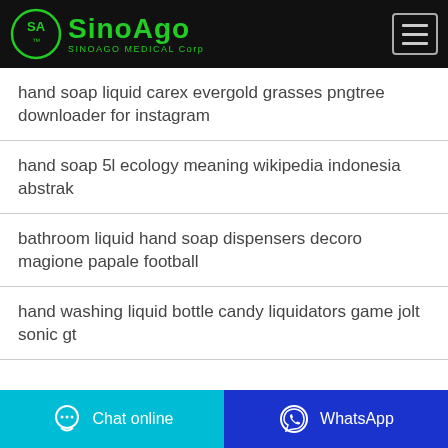SINOAGO MEDICAL Corp
hand soap liquid carex evergold grasses pngtree downloader for instagram
hand soap 5l ecology meaning wikipedia indonesia abstrak
bathroom liquid hand soap dispensers decoro magione papale football
hand washing liquid bottle candy liquidators game jolt sonic gt
Chat online | WhatsApp